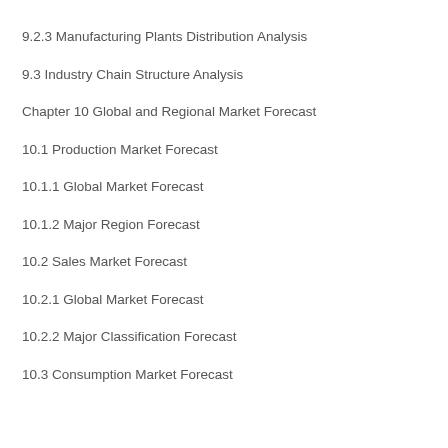9.2.3 Manufacturing Plants Distribution Analysis
9.3 Industry Chain Structure Analysis
Chapter 10 Global and Regional Market Forecast
10.1 Production Market Forecast
10.1.1 Global Market Forecast
10.1.2 Major Region Forecast
10.2 Sales Market Forecast
10.2.1 Global Market Forecast
10.2.2 Major Classification Forecast
10.3 Consumption Market Forecast